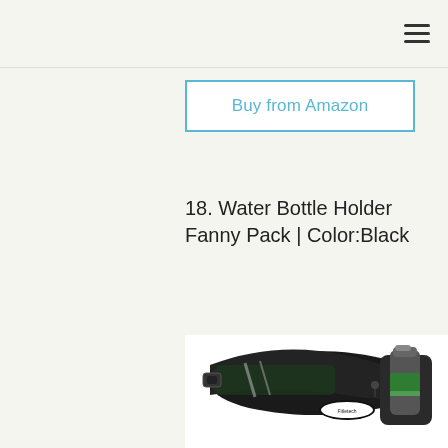Buy from Amazon
18. Water Bottle Holder Fanny Pack | Color:Black
[Figure (photo): Product photo of a black water bottle holder fanny pack/running belt with a water bottle inserted, featuring mesh fabric, reflective accents, and a brand logo patch, shown on a white background.]